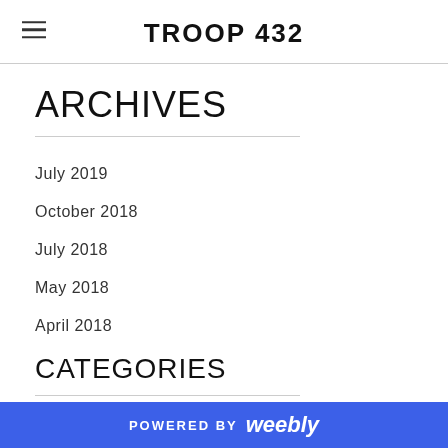TROOP 432
ARCHIVES
July 2019
October 2018
July 2018
May 2018
April 2018
CATEGORIES
All
POWERED BY weebly